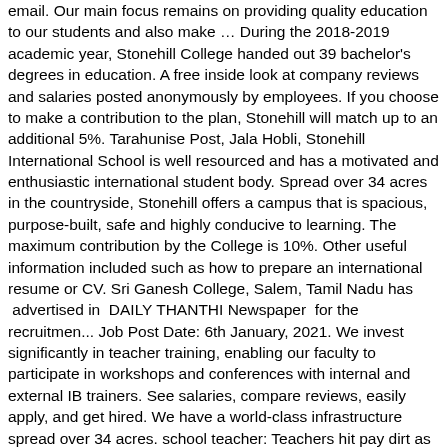email. Our main focus remains on providing quality education to our students and also make … During the 2018-2019 academic year, Stonehill College handed out 39 bachelor's degrees in education. A free inside look at company reviews and salaries posted anonymously by employees. If you choose to make a contribution to the plan, Stonehill will match up to an additional 5%. Tarahunise Post, Jala Hobli, Stonehill International School is well resourced and has a motivated and enthusiastic international student body. Spread over 34 acres in the countryside, Stonehill offers a campus that is spacious, purpose-built, safe and highly conducive to learning. The maximum contribution by the College is 10%. Other useful information included such as how to prepare an international resume or CV. Sri Ganesh College, Salem, Tamil Nadu has  advertised in  DAILY THANTHI Newspaper  for the recruitmen... Job Post Date: 6th January, 2021. We invest significantly in teacher training, enabling our faculty to participate in workshops and conferences with internal and external IB trainers. See salaries, compare reviews, easily apply, and get hired. We have a world-class infrastructure spread over 34 acres. school teacher: Teachers hit pay dirt as demand for global … Teachers have to make education a lifelong journey of discovery and achievement for themselves, before they can inspire the same in their students. The Canadian